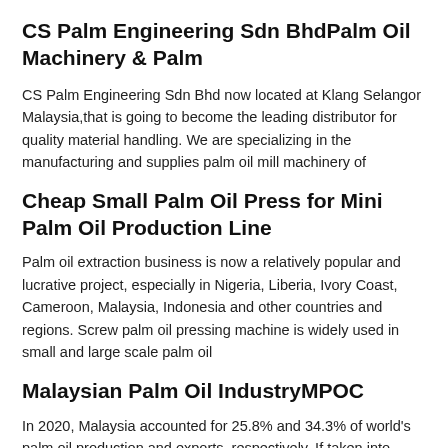CS Palm Engineering Sdn BhdPalm Oil Machinery & Palm
CS Palm Engineering Sdn Bhd now located at Klang Selangor Malaysia,that is going to become the leading distributor for quality material handling. We are specializing in the manufacturing and supplies palm oil mill machinery of
Cheap Small Palm Oil Press for Mini Palm Oil Production Line
Palm oil extraction business is now a relatively popular and lucrative project, especially in Nigeria, Liberia, Ivory Coast, Cameroon, Malaysia, Indonesia and other countries and regions. Screw palm oil pressing machine is widely used in small and large scale palm oil
Malaysian Palm Oil IndustryMPOC
In 2020, Malaysia accounted for 25.8% and 34.3% of world's palm oil production and exports, respectively. If taken into account of